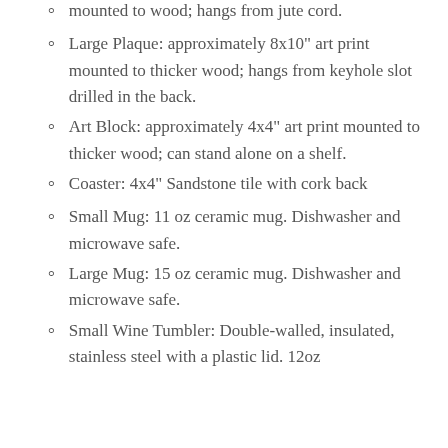mounted to wood; hangs from jute cord.
Large Plaque: approximately 8x10" art print mounted to thicker wood; hangs from keyhole slot drilled in the back.
Art Block: approximately 4x4" art print mounted to thicker wood; can stand alone on a shelf.
Coaster: 4x4" Sandstone tile with cork back
Small Mug: 11 oz ceramic mug. Dishwasher and microwave safe.
Large Mug: 15 oz ceramic mug. Dishwasher and microwave safe.
Small Wine Tumbler: Double-walled, insulated, stainless steel with a plastic lid. 12oz